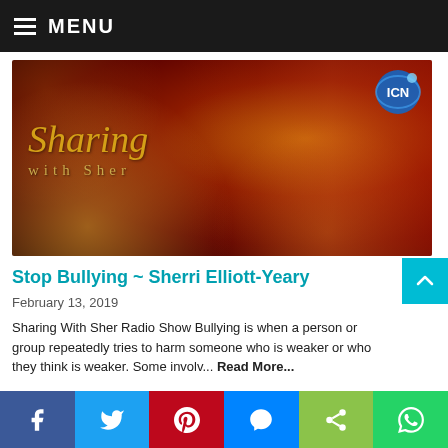MENU
[Figure (photo): Promotional image for 'Sharing with Sher' radio show. A blonde woman in a red dress poses on a golden sparkly red background. The show title 'Sharing with Sher' is displayed in gold script. ICN logo in the top right corner.]
Stop Bullying ~ Sherri Elliott-Yeary
February 13, 2019
Sharing With Sher Radio Show Bullying is when a person or group repeatedly tries to harm someone who is weaker or who they think is weaker. Some involv... Read More...